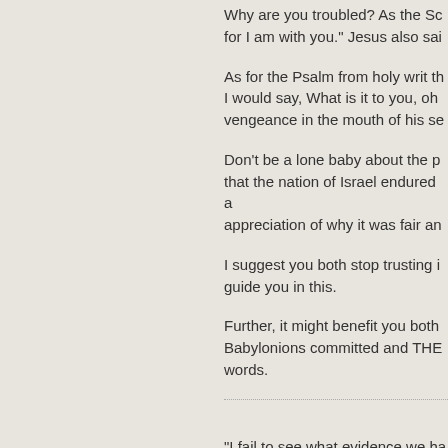Why are you troubled? As the Sc for I am with you." Jesus also sai
As for the Psalm from holy writ th I would say, What is it to you, oh vengeance in the mouth of his se
Don't be a lone baby about the p that the nation of Israel endured a appreciation of why it was fair an
I suggest you both stop trusting i guide you in this.
Further, it might benefit you both Babylonions committed and THE words.
"I fail to see what evidence we ha inspiration with your particular the inerrancy. In fact, I see no theory inspiration."
I don't think I'm committed to wh